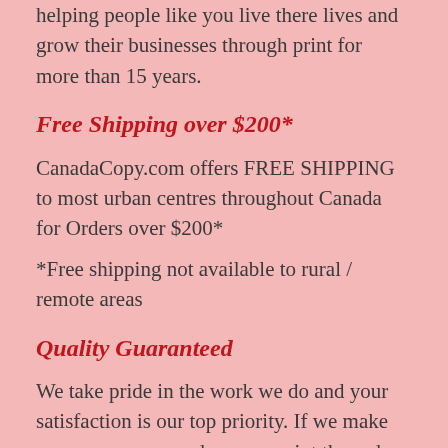helping people like you live there lives and grow their businesses through print for more than 15 years.
Free Shipping over $200*
CanadaCopy.com offers FREE SHIPPING to most urban centres throughout Canada for Orders over $200*
*Free shipping not available to rural / remote areas
Quality Guaranteed
We take pride in the work we do and your satisfaction is our top priority. If we make an error on your order, we reprint the order and ship it back to you for free!